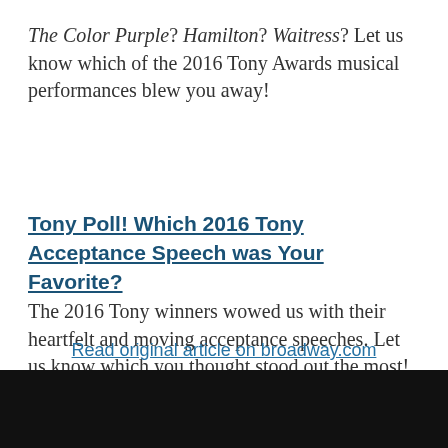The Color Purple? Hamilton? Waitress? Let us know which of the 2016 Tony Awards musical performances blew you away!
Tony Poll! Which 2016 Tony Acceptance Speech was Your Favorite?
The 2016 Tony winners wowed us with their heartfelt and moving acceptance speeches. Let us know which you thought stood out the most!
Read original article on broadway.com